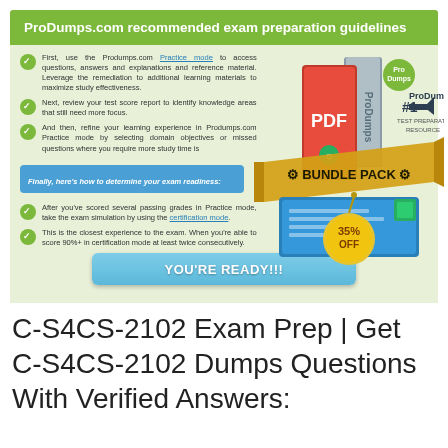ProDumps.com recommended exam preparation guidelines
First, use the Produmps.com Practice mode to access questions, answers and explanations and reference material. Leverage the remediation to additional learning materials to maximize study effectiveness.
Next, review your test score report to identify knowledge areas that still need more focus.
And then, refine your learning experience in Produmps.com Practice mode by selecting domain objectives or missed questions where you require more study time is
[Figure (illustration): ProDumps bundle pack promotional image showing PDF and software boxes with '35% OFF' badge and 'BUNDLE PACK' ribbon, '#1 TEST PREPARATION RESOURCE' label]
Finally, here's how to determine your exam readiness:
After you've scored several passing grades in Practice mode, take the exam simulation by using the certification mode.
This is the closest experience to the exam. When you're able to score 90%+ in certification mode at least twice consecutively.
YOU'RE READY!!!
C-S4CS-2102 Exam Prep | Get C-S4CS-2102 Dumps Questions With Verified Answers: